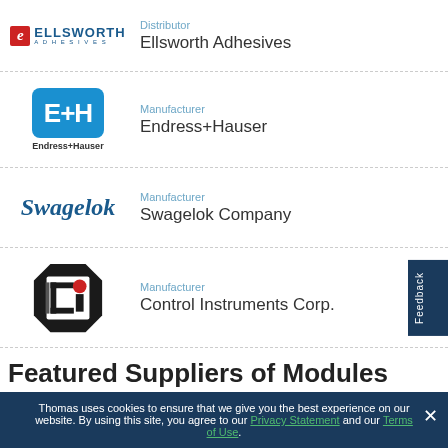[Figure (logo): Ellsworth Adhesives logo with red stylized e and blue ELLSWORTH ADHESIVES text]
Distributor
Ellsworth Adhesives
[Figure (logo): Endress+Hauser logo: blue rounded rectangle with white EH text, and Endress+Hauser name below]
Manufacturer
Endress+Hauser
[Figure (logo): Swagelok cursive blue italic logo]
Manufacturer
Swagelok Company
[Figure (logo): Control Instruments Corp logo: black octagon/square with CI letters and red dot]
Manufacturer
Control Instruments Corp.
Featured Suppliers of Modules
Thomas uses cookies to ensure that we give you the best experience on our website. By using this site, you agree to our Privacy Statement and our Terms of Use.